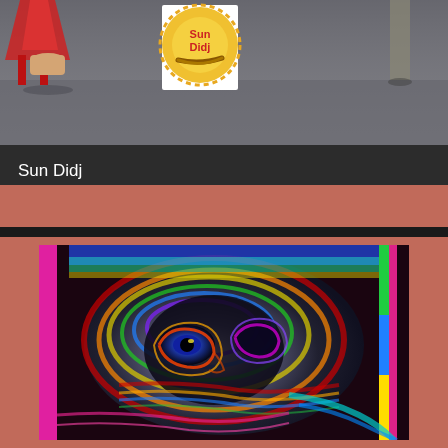[Figure (photo): Top banner showing a blurred grey floor with red high heel shoes on left, and a Sun Didj logo (circular sun with didgeridoo instrument) in the center]
Sun Didj
The Spider's Dream (feat. Jill Benson)
[Figure (photo): Psychedelic colorful abstract image of a face with swirling rainbow colors - blues, reds, greens, yellows - distorted face with visible eye, on a salmon/coral background]